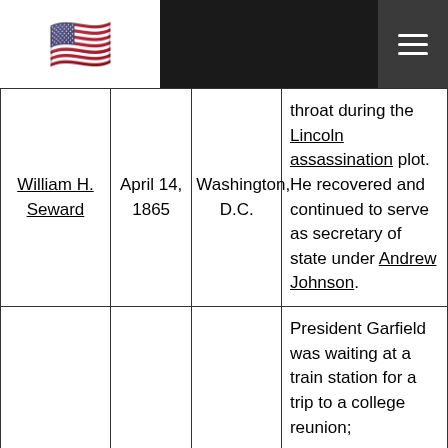US History page with flag and navigation
| William H. Seward | April 14, 1865 | Washington, D.C. | throat during the Lincoln assassination plot. He recovered and continued to serve as secretary of state under Andrew Johnson. |
|  |  |  | President Garfield was waiting at a train station for a trip to a college reunion; |